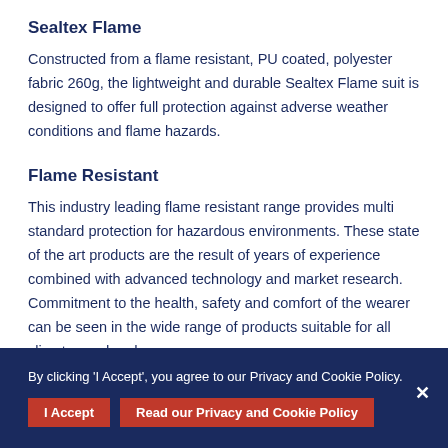Sealtex Flame
Constructed from a flame resistant, PU coated, polyester fabric 260g, the lightweight and durable Sealtex Flame suit is designed to offer full protection against adverse weather conditions and flame hazards.
Flame Resistant
This industry leading flame resistant range provides multi standard protection for hazardous environments. These state of the art products are the result of years of experience combined with advanced technology and market research. Commitment to the health, safety and comfort of the wearer can be seen in the wide range of products suitable for all climates and end uses.
By clicking 'I Accept', you agree to our Privacy and Cookie Policy. I Accept  Read our Privacy and Cookie Policy